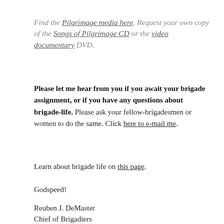Find the Pilgrimage media here. Request your own copy of the Songs of Pilgrimage CD or the video documentary DVD.
Please let me hear from you if you await your brigade assignment, or if you have any questions about brigade-life. Please ask your fellow-brigadesmen or women to do the same. Click here to e-mail me.
Learn about brigade life on this page.
Godspeed!
Reuben J. DeMaster
Chief of Brigadiers
New Tripoli, Pennsylvania